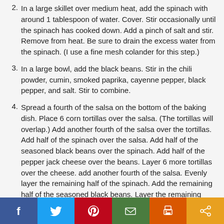2. In a large skillet over medium heat, add the spinach with around 1 tablespoon of water. Cover. Stir occasionally until the spinach has cooked down. Add a pinch of salt and stir. Remove from heat. Be sure to drain the excess water from the spinach. (I use a fine mesh colander for this step.)
3. In a large bowl, add the black beans. Stir in the chili powder, cumin, smoked paprika, cayenne pepper, black pepper, and salt. Stir to combine.
4. Spread a fourth of the salsa on the bottom of the baking dish. Place 6 corn tortillas over the salsa. (The tortillas will overlap.) Add another fourth of the salsa over the tortillas. Add half of the spinach over the salsa. Add half of the seasoned black beans over the spinach. Add half of the pepper jack cheese over the beans. Layer 6 more tortillas over the cheese. add another fourth of the salsa. Evenly layer the remaining half of the spinach. Add the remaining half of the seasoned black beans. Layer the remaining pepper jack cheese. Top with the final 6 corn tortillas. Spread the last fourth of the salsa and spread over the
[Figure (infographic): Social media sharing bar with icons for Facebook (blue), Twitter (light blue), Pinterest (red), Email (green), Print (orange), and Share (amber/orange).]